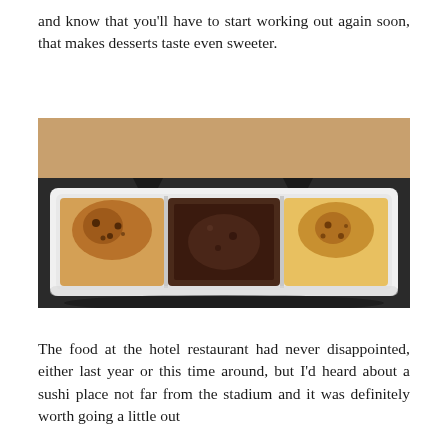and know that you'll have to start working out again soon, that makes desserts taste even sweeter.
[Figure (photo): Three creme brulees in a white rectangular divided dish on a dark background. Left portion has a caramelized sugar top with dark spots, middle portion is dark chocolate colored, right portion has a golden caramelized top.]
The food at the hotel restaurant had never disappointed, either last year or this time around, but I'd heard about a sushi place not far from the stadium and it was definitely worth going a little out